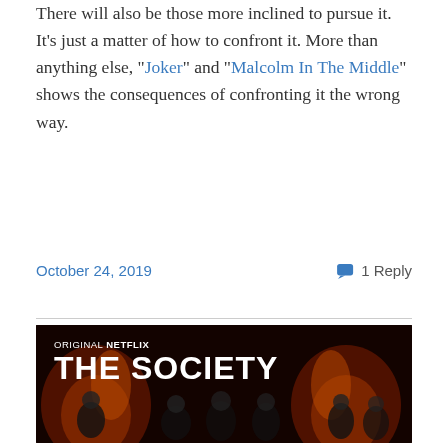There will also be those more inclined to pursue it. It's just a matter of how to confront it. More than anything else, "Joker" and "Malcolm In The Middle" shows the consequences of confronting it the wrong way.
October 24, 2019    1 Reply
[Figure (photo): Netflix promotional image for 'The Society' showing teenagers running from a burning backdrop, with text 'ORIGINAL NETFLIX' and 'THE SOCIETY' overlaid in white.]